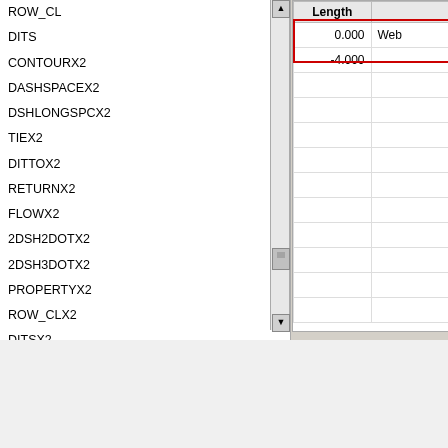ROW_CL
DITS
CONTOURX2
DASHSPACEX2
DSHLONGSPCX2
TIEX2
DITTOX2
RETURNX2
FLOWX2
2DSH2DOTX2
2DSH3DOTX2
PROPERTYX2
ROW_CLX2
DITSX2
Webdings
| Length |  |
| --- | --- |
| 0.000 | Web |
| -4.000 |  |
|  |  |
|  |  |
|  |  |
|  |  |
|  |  |
|  |  |
|  |  |
|  |  |
|  |  |
Preview
[Figure (screenshot): Black preview canvas showing small white tick/dot marks evenly spaced across a black background representing the Webdings font linetype preview]